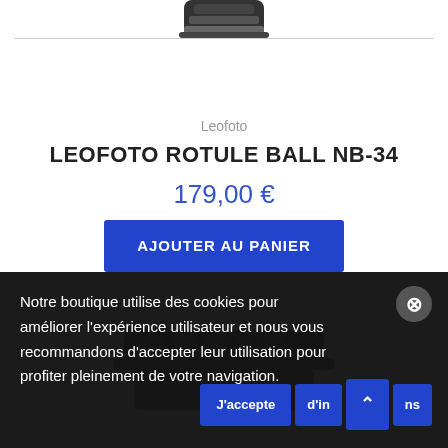[Figure (photo): Top portion of a Leofoto ball head product, cropped at top of page]
Leofoto
LEOFOTO ROTULE BALL NB-34
179,00 €
AJOUTER AU PANIER
[Figure (photo): Bottom portion of another Leofoto product, cropped at bottom of visible area above cookie banner]
Notre boutique utilise des cookies pour améliorer l'expérience utilisateur et nous vous recommandons d'accepter leur utilisation pour profiter pleinement de votre navigation.
J'accepte
d'in…ns